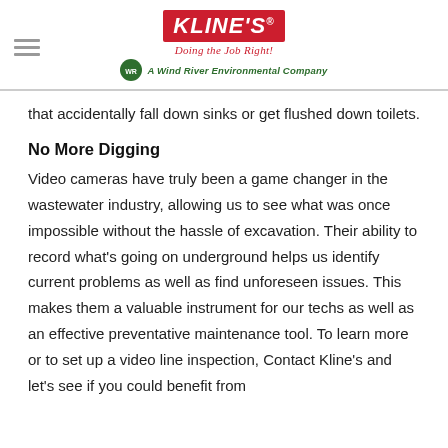[Figure (logo): Kline's logo with tagline 'Doing the Job Right!' and 'A Wind River Environmental Company' badge]
that accidentally fall down sinks or get flushed down toilets.
No More Digging
Video cameras have truly been a game changer in the wastewater industry, allowing us to see what was once impossible without the hassle of excavation. Their ability to record what's going on underground helps us identify current problems as well as find unforeseen issues. This makes them a valuable instrument for our techs as well as an effective preventative maintenance tool. To learn more or to set up a video line inspection, Contact Kline's and let's see if you could benefit from